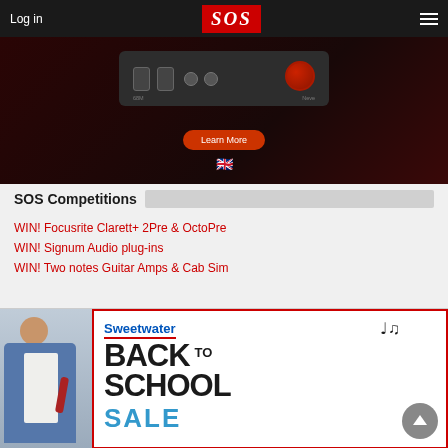Log in | SOS | Menu
[Figure (photo): Audio interface device (Focusrite-style) on dark red background with 'Learn More' button and UK flag icon]
SOS Competitions
WIN! Focusrite Clarett+ 2Pre & OctoPre
WIN! Signum Audio plug-ins
WIN! Two notes Guitar Amps & Cab Sim
[Figure (advertisement): Sweetwater Back to School Sale advertisement banner with person in denim jacket]